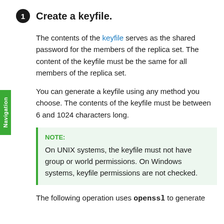1 Create a keyfile.
The contents of the keyfile serves as the shared password for the members of the replica set. The content of the keyfile must be the same for all members of the replica set.
You can generate a keyfile using any method you choose. The contents of the keyfile must be between 6 and 1024 characters long.
NOTE:
On UNIX systems, the keyfile must not have group or world permissions. On Windows systems, keyfile permissions are not checked.
The following operation uses openssl to generate